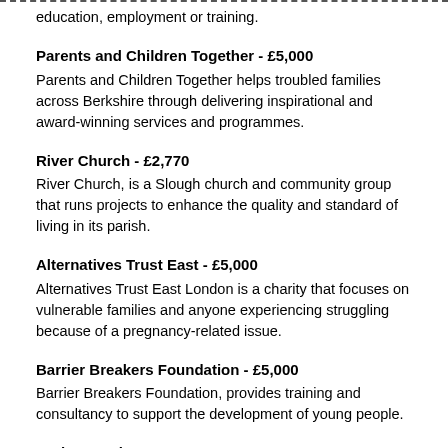education, employment or training.
Parents and Children Together - £5,000
Parents and Children Together helps troubled families across Berkshire through delivering inspirational and award-winning services and programmes.
River Church - £2,770
River Church, is a Slough church and community group that runs projects to enhance the quality and standard of living in its parish.
Alternatives Trust East - £5,000
Alternatives Trust East London is a charity that focuses on vulnerable families and anyone experiencing struggling because of a pregnancy-related issue.
Barrier Breakers Foundation - £5,000
Barrier Breakers Foundation, provides training and consultancy to support the development of young people.
Caritas Anchor House - £5,000